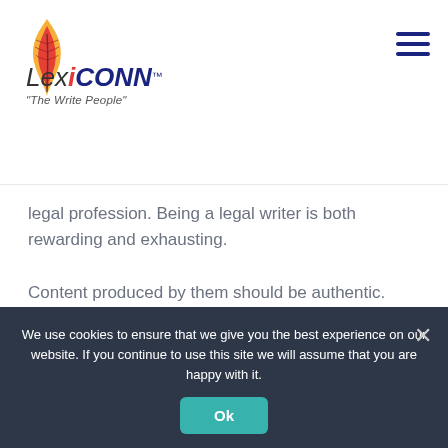[Figure (logo): Lexiconn logo with stylized flame/feather icon in red and gold, wordmark 'LexiCONN' with trademark symbol, tagline 'The Write People']
legal profession. Being a legal writer is both rewarding and exhausting.
Content produced by them should be authentic.
A legal draft writer must ensure that their language is accurate, using appropriate vocabulary and syntax.
We use cookies to ensure that we give you the best experience on our website. If you continue to use this site we will assume that you are happy with it.